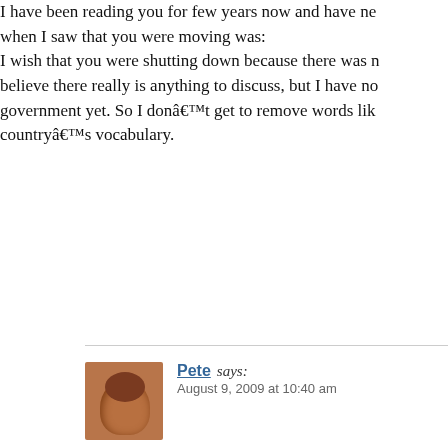I have been reading you for few years now and have never commented, but when I saw that you were moving was:
I wish that you were shutting down because there was nothing left to believe there really is anything to discuss, but I have not run the government yet. So I donât get to remove words like “hassin” from the countryâs vocabulary.
Pete says:
August 9, 2009 at 10:40 am
MightyMoe — I agree. Would have been nice to be shut down rather than moving it.
Jesper Kristensen says:
August 9, 2009 at 3:18 pm
Looks great so far. Congrats with the new system, I'm